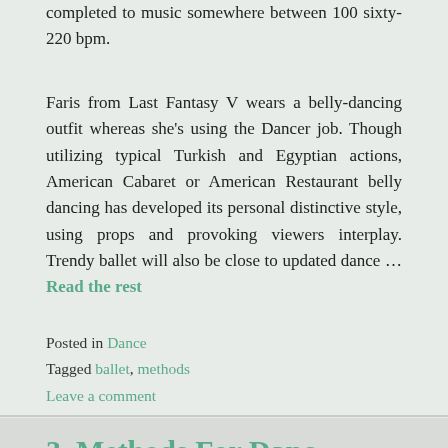completed to music somewhere between 100 sixty-220 bpm.
Faris from Last Fantasy V wears a belly-dancing outfit whereas she’s using the Dancer job. Though utilizing typical Turkish and Egyptian actions, American Cabaret or American Restaurant belly dancing has developed its personal distinctive style, using props and provoking viewers interplay. Trendy ballet will also be close to updated dance … Read the rest
Posted in Dance
Tagged ballet, methods
Leave a comment
3. Methods For Danc...